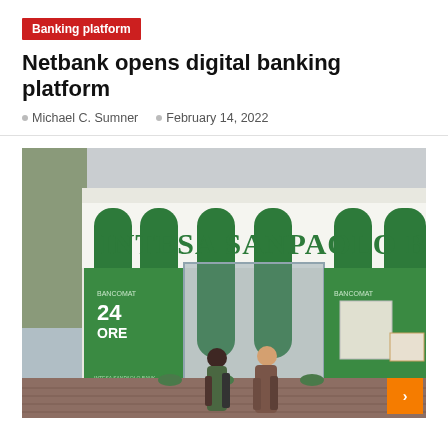Banking platform
Netbank opens digital banking platform
Michael C. Sumner   February 14, 2022
[Figure (photo): Exterior photo of an Intesa Sanpaolo Bank branch with large green columns, two women walking past, and bancomat signage.]